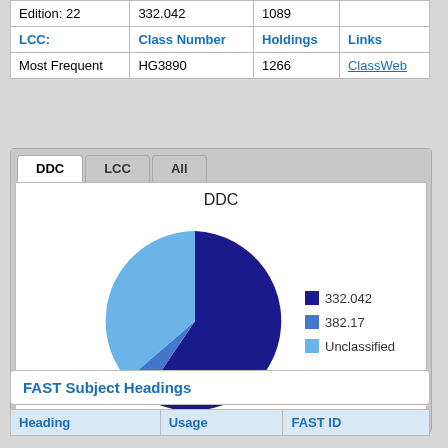|  | Class Number | Holdings | Links |
| --- | --- | --- | --- |
| Edition: 22 | 332.042 | 1089 |  |
| LCC: | Class Number | Holdings | Links |
| Most Frequent | HG3890 | 1266 | ClassWeb |
[Figure (pie-chart): DDC]
FAST Subject Headings
| Heading | Usage | FAST ID |
| --- | --- | --- |